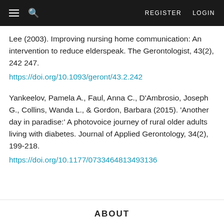≡  🔍   REGISTER   LOGIN
Lee (2003). Improving nursing home communication: An intervention to reduce elderspeak. The Gerontologist, 43(2), 242 247.
https://doi.org/10.1093/geront/43.2.242
Yankeelov, Pamela A., Faul, Anna C., D'Ambrosio, Joseph G., Collins, Wanda L., & Gordon, Barbara (2015). 'Another day in paradise:' A photovoice journey of rural older adults living with diabetes. Journal of Applied Gerontology, 34(2), 199-218.
https://doi.org/10.1177/0733464813493136
ABOUT